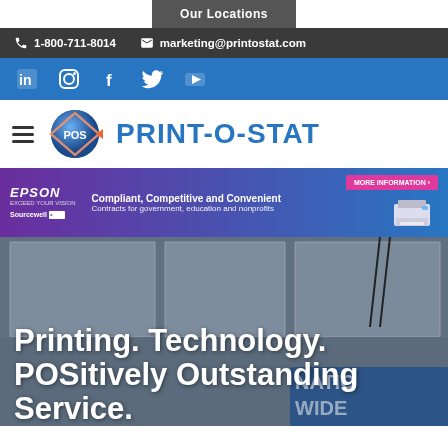Our Locations
1-800-711-8014   marketing@printostat.com
[Figure (other): Social media icons: LinkedIn, Instagram, Facebook, Twitter, YouTube on blue bar]
[Figure (logo): Print-O-Stat logo with globe/diamond icon and blue PRINT-O-STAT text]
[Figure (other): Epson advertisement banner: Compliant, Competitive and Convenient. Contracts for government, education and nonprofits. Sourcewell. More Information button. Printer image.]
[Figure (photo): Interior office/showroom ceiling with LED panel lights and hanging cables, blue branded signage partially visible at bottom right]
Printing. Technology. POSitively Outstanding Service.